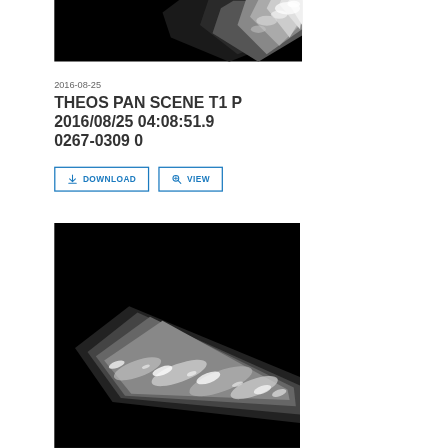[Figure (photo): Satellite image with black background showing a partial bright white landmass or terrain feature in the upper right corner against a black field.]
2016-08-25
THEOS PAN SCENE T1 P 2016/08/25 04:08:51.9 0267-0309 0
[Figure (screenshot): Two buttons: DOWNLOAD and VIEW, styled with blue borders and blue text/icons on white background.]
[Figure (photo): Satellite image showing a diagonal bright white terrain strip (landmass or cloud formation) across a black background, larger and more detailed than the first image.]